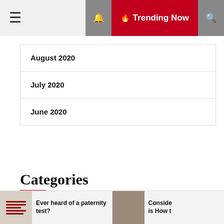≡  🔥 Trending Now 🔍
August 2020
July 2020
June 2020
Categories
Dentist
Fitness
Ever heard of a paternity test?  Consider… is How t…